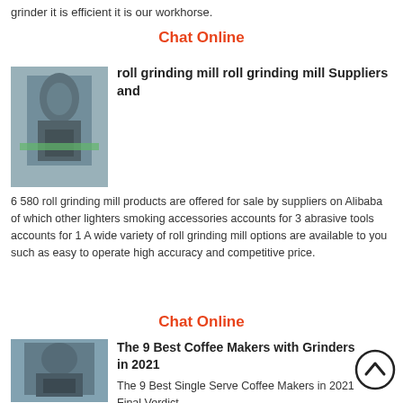grinder it is efficient it is our workhorse.
Chat Online
[Figure (photo): Industrial grinding mill machine in a factory setting]
roll grinding mill roll grinding mill Suppliers and
6 580 roll grinding mill products are offered for sale by suppliers on Alibaba of which other lighters smoking accessories accounts for 3 abrasive tools accounts for 1 A wide variety of roll grinding mill options are available to you such as easy to operate high accuracy and competitive price.
Chat Online
[Figure (photo): Industrial grinding mill machine in a warehouse]
The 9 Best Coffee Makers with Grinders in 2021
The 9 Best Single Serve Coffee Makers in 2021 Final Verdict